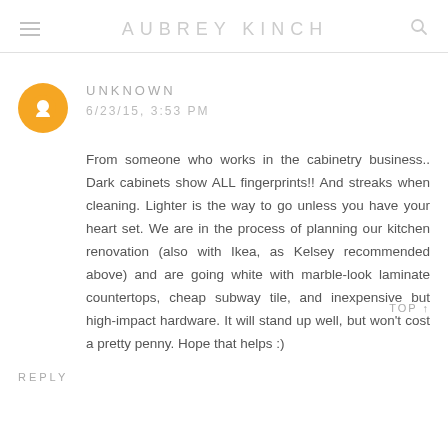AUBREY KINCH
UNKNOWN
6/23/15, 3:53 PM
From someone who works in the cabinetry business.. Dark cabinets show ALL fingerprints!! And streaks when cleaning. Lighter is the way to go unless you have your heart set. We are in the process of planning our kitchen renovation (also with Ikea, as Kelsey recommended above) and are going white with marble-look laminate countertops, cheap subway tile, and inexpensive but high-impact hardware. It will stand up well, but won't cost a pretty penny. Hope that helps :)
REPLY